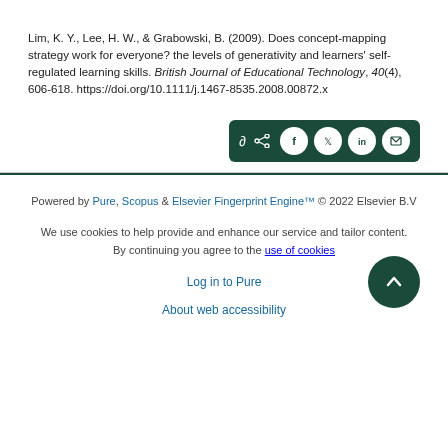Lim, K. Y., Lee, H. W., & Grabowski, B. (2009). Does concept-mapping strategy work for everyone? the levels of generativity and learners' self-regulated learning skills. British Journal of Educational Technology, 40(4), 606-618. https://doi.org/10.1111/j.1467-8535.2008.00872.x
[Figure (other): Dark green share bar with social media icons: share symbol, Facebook, Twitter, LinkedIn, Email]
Powered by Pure, Scopus & Elsevier Fingerprint Engine™ © 2022 Elsevier B.V
We use cookies to help provide and enhance our service and tailor content. By continuing you agree to the use of cookies
Log in to Pure
About web accessibility